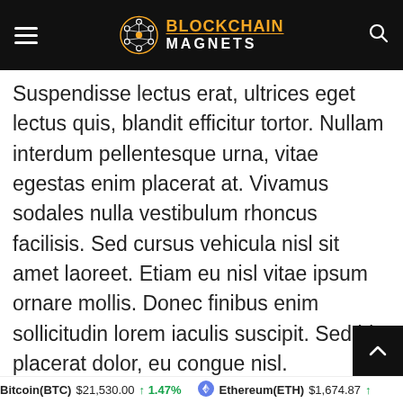BLOCKCHAIN MAGNETS
Suspendisse lectus erat, ultrices eget lectus quis, blandit efficitur tortor. Nullam interdum pellentesque urna, vitae egestas enim placerat at. Vivamus sodales nulla vestibulum rhoncus facilisis. Sed cursus vehicula nisl sit amet laoreet. Etiam eu nisl vitae ipsum ornare mollis. Donec finibus enim sollicitudin lorem iaculis suscipit. Sed id placerat dolor, eu congue nisl. Suspendisse consectetur id justo quis feugiat. Mauris nec enim id justo feugiat pharetra sit amet ac libero. Pellentesque in accumsan f
Bitcoin(BTC) $21,530.00 ↑ 1.47%   Ethereum(ETH) $1,674.87 ↑